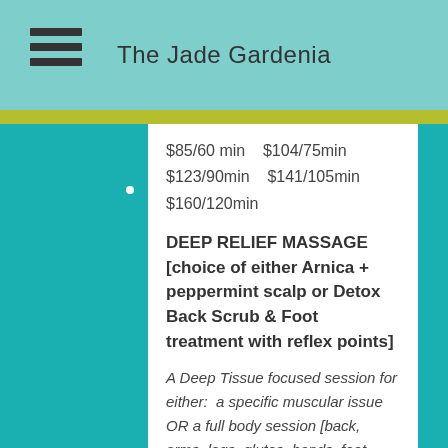The Jade Gardenia
$85/60 min    $104/75min
$123/90min    $141/105min
$160/120min
DEEP RELIEF MASSAGE [choice of either Arnica + peppermint scalp or Detox Back Scrub & Foot treatment with reflex points]
A Deep Tissue focused session for either:  a specific muscular issue OR a full body session [back, arms, legs, glutes, hands, feet, scalp] for pain relief, stress management and/or  stress tension relief.